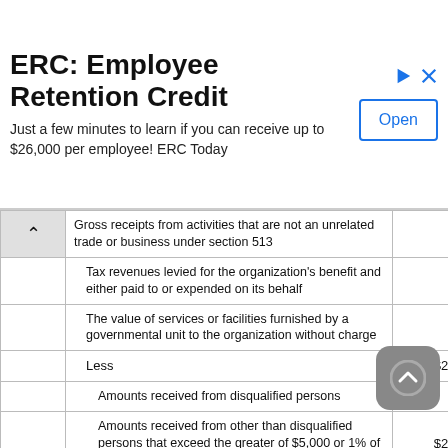[Figure (screenshot): Advertisement banner for ERC: Employee Retention Credit. Title: 'ERC: Employee Retention Credit'. Subtitle: 'Just a few minutes to learn if you can receive up to $26,000 per employee! ERC Today'. Open button on right.]
| Description | Amount |
| --- | --- |
| Gross receipts from activities that are not an unrelated trade or business under section 513 | $0 |
| Tax revenues levied for the organization's benefit and either paid to or expended on its behalf | $0 |
| The value of services or facilities furnished by a governmental unit to the organization without charge | $0 |
| Less | $248,887 |
| Amounts received from disqualified persons | $0 |
| Amounts received from other than disqualified persons that exceed the greater of $5,000 or 1% of the total support | $248,887 |
| Total support | $6,392,598 |
| Public support | $6,388,971 |
| Subtotal | $3,627 |
| Gross income from interest, dividends, payments received on securities loans, rents, royalties and income from similar sources | $3,627 |
| Unrelated business taxable income (less section 511 taxes) |  |